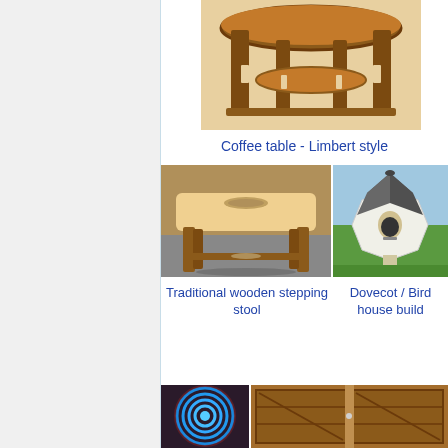[Figure (photo): Wooden coffee table in Limbert style with round top and lower shelf, warm brown wood]
Coffee table - Limbert style
[Figure (photo): Traditional wooden stepping stool with a handle slot cut in the top, light wood top with darker wooden legs]
Traditional wooden stepping stool
[Figure (photo): Dovecot / Bird house build - white octagonal birdhouse with grey tiled roof on grass]
Dovecot / Bird house build
[Figure (photo): Blue circular object on dark background]
[Figure (photo): Wooden double gate with diagonal cross-brace pattern]